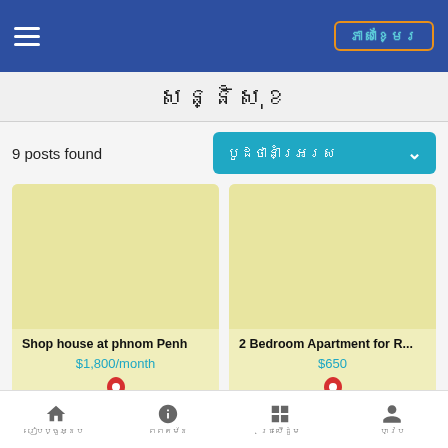Navigation bar with hamburger menu and language button (ភាសាខ្មែរ)
សន្និសុខ
9 posts found
បូនថាព្ាអ្ងរ
[Figure (screenshot): Listing card: Shop house at phnom Penh, $1,800/month with location pin]
[Figure (screenshot): Listing card: 2 Bedroom Apartment for R..., $650 with location pin]
Bottom navigation bar with home, info, grid, and profile icons with Khmer labels